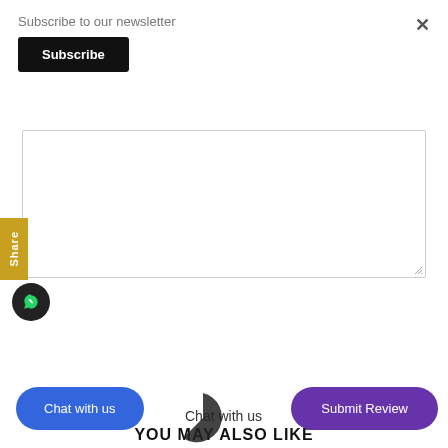Subscribe to our newsletter
Subscribe
×
[Figure (screenshot): Empty textarea/text input box with resize handle in bottom-right corner]
Share
[Figure (illustration): WhatsApp icon circle button in dark background]
Chat with us
Chat with us
Submit Review
YOU MAY ALSO LIKE